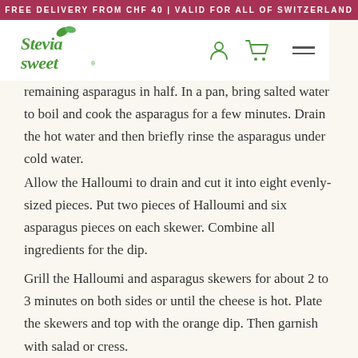FREE DELIVERY FROM CHF 40 | VALID FOR ALL OF SWITZERLAND
[Figure (logo): Stevia Sweet logo with green leaf accent, stylized cursive text]
remaining asparagus in half. In a pan, bring salted water to boil and cook the asparagus for a few minutes. Drain the hot water and then briefly rinse the asparagus under cold water.
Allow the Halloumi to drain and cut it into eight evenly-sized pieces. Put two pieces of Halloumi and six asparagus pieces on each skewer. Combine all ingredients for the dip.
Grill the Halloumi and asparagus skewers for about 2 to 3 minutes on both sides or until the cheese is hot. Plate the skewers and top with the orange dip. Then garnish with salad or cress.